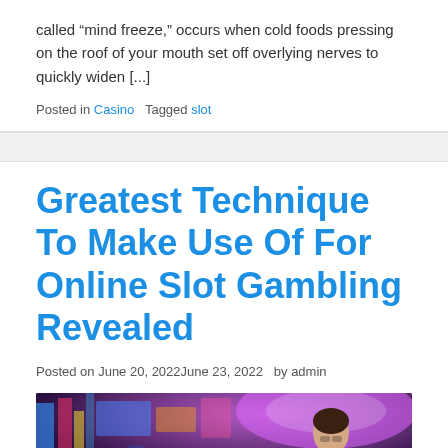called “mind freeze,” occurs when cold foods pressing on the roof of your mouth set off overlying nerves to quickly widen [...]
Posted in Casino   Tagged slot
Greatest Technique To Make Use Of For Online Slot Gambling Revealed
Posted on June 20, 2022June 23, 2022   by admin
[Figure (photo): A person at a casino with colorful lights in the background]